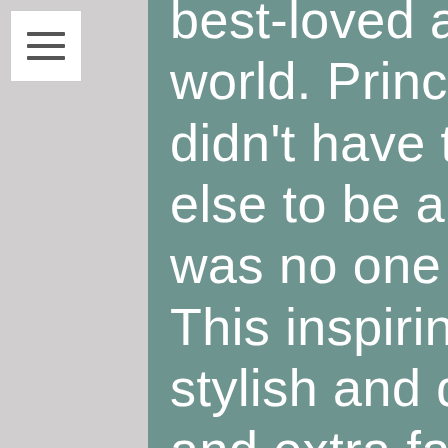[Figure (other): Hamburger menu icon (three horizontal lines) in a white box in the top-left corner]
best-loved all around the world. Prince knew that he didn't have to be like anyone else to be a star - and there was no one quite like Prince. This inspiring book features stylish and quirky illustrations and extra facts at the back, including a biographical timeline with historical